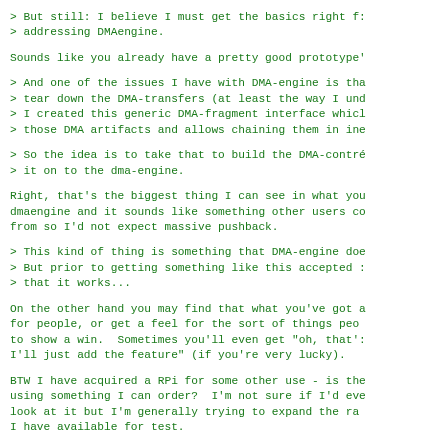> But still: I believe I must get the basics right f:
> addressing DMAengine.
Sounds like you already have a pretty good prototype'
> And one of the issues I have with DMA-engine is tha
> tear down the DMA-transfers (at least the way I und
> I created this generic DMA-fragment interface whicl
> those DMA artifacts and allows chaining them in ine
> So the idea is to take that to build the DMA-contr
> it on to the dma-engine.
Right, that's the biggest thing I can see in what you
dmaengine and it sounds like something other users co
from so I'd not expect massive pushback.
> This kind of thing is something that DMA-engine doe
> But prior to getting something like this accepted :
> that it works...
On the other hand you may find that what you've got a
for people, or get a feel for the sort of things peo
to show a win.  Sometimes you'll even get "oh, that':
I'll just add the feature" (if you're very lucky).
BTW I have acquired a RPi for some other use - is the
using something I can order?  I'm not sure if I'd eve
look at it but I'm generally trying to expand the ra
I have available for test.